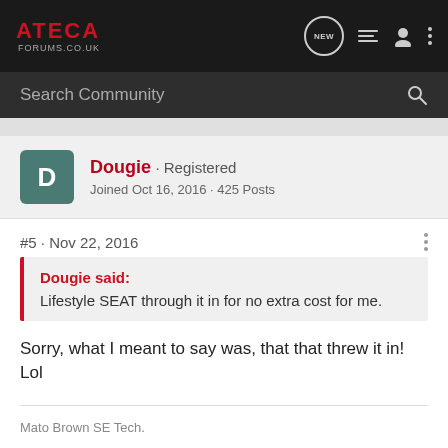ATECA FORUMS.CO.UK
Search Community
Dougie · Registered
Joined Oct 16, 2016 · 425 Posts
#5 · Nov 22, 2016
Dougie said:
Lifestyle SEAT through it in for no extra cost for me.
Sorry, what I meant to say was, that that threw it in! Lol
Mato Brown SE Tech.